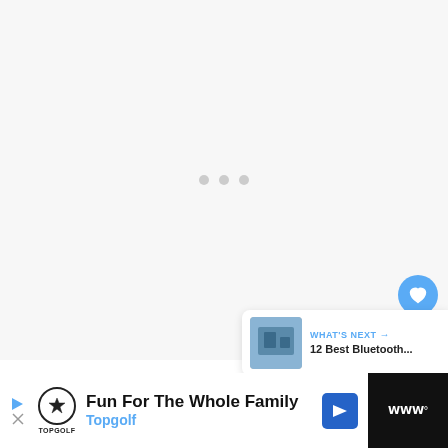[Figure (screenshot): Loading screen with three gray dots centered on a light gray background, indicating content is loading.]
[Figure (screenshot): Heart/favorite button (blue circle with white heart icon) and share button (white circle with share icon), overlaid on the right side of the content area. Below is a 'WHAT'S NEXT' card showing a thumbnail and '12 Best Bluetooth...' text.]
WHAT'S NEXT → 12 Best Bluetooth...
[Figure (screenshot): Advertisement banner at the bottom: 'Fun For The Whole Family' / 'Topgolf' with Topgolf logo, play/close controls, navigation arrow badge, and a dark section on the right showing temperature/indoor info.]